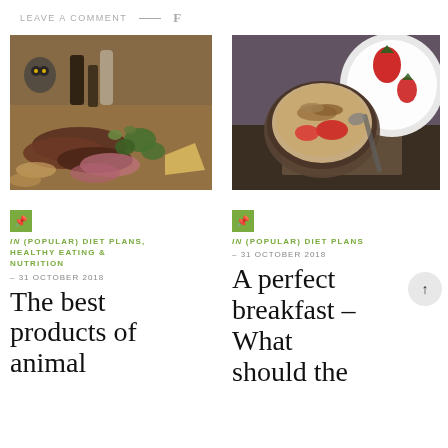LEAVE A COMMENT — f
[Figure (photo): Overhead view of a charcuterie board with meats, olives, vegetables, and bottles on a wooden table]
[Figure (photo): Top-down view of a bowl of oatmeal with strawberries and granola, with a white plate and strawberries on the side]
in (POPULAR) DIET PLANS, HEALTHY EATING & NUTRITION – 31 OCTOBER 2018
The best products of animal
in (POPULAR) DIET PLANS – 31 OCTOBER 2018
A perfect breakfast – What should the